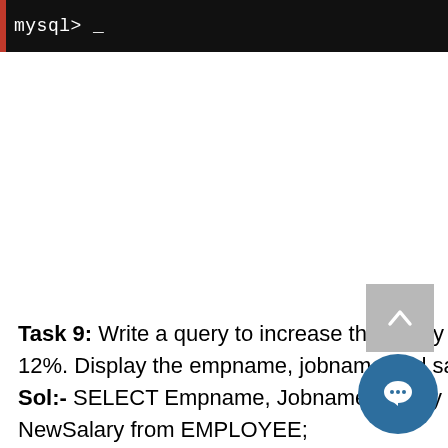[Figure (screenshot): MySQL terminal prompt showing 'mysql> _' on a black background with red left border accent]
Task 9: Write a query to increase the salary for all the employees by 12%. Display the empname, jobname and salary after the increment
Sol:- SELECT Empname, Jobname, Salary + (Salary * 12/100) as NewSalary from EMPLOYEE;